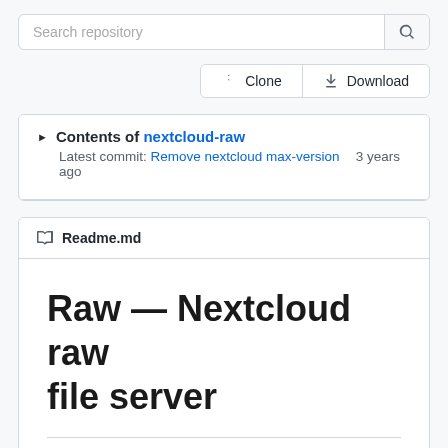[Figure (screenshot): Search repository input box with search icon button on the right]
[Figure (screenshot): Clone and Download action buttons]
Contents of nextcloud-raw
Latest commit: Remove nextcloud max-version  3 years ago
Readme.md
Raw — Nextcloud raw file server
Raw simply returns any requested file, so